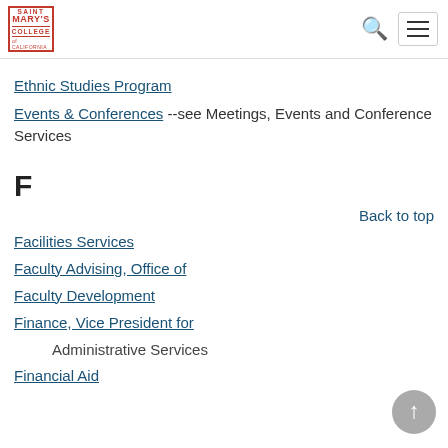Saint Mary's College of California
Ethnic Studies Program
Events & Conferences --see Meetings, Events and Conference Services
F
Back to top
Facilities Services
Faculty Advising, Office of
Faculty Development
Finance, Vice President for
Administrative Services
Financial Aid